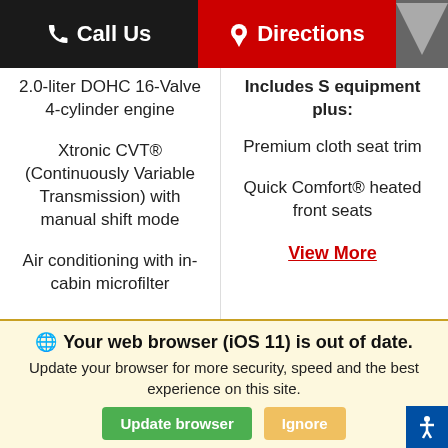Call Us   Directions
2.0-liter DOHC 16-Valve 4-cylinder engine
Xtronic CVT® (Continuously Variable Transmission) with manual shift mode
Air conditioning with in-cabin microfilter
View More
Includes S equipment plus:
Premium cloth seat trim
Quick Comfort® heated front seats
View More
Shop Now
Your web browser (iOS 11) is out of date. Update your browser for more security, speed and the best experience on this site.
Update browser
Ignore